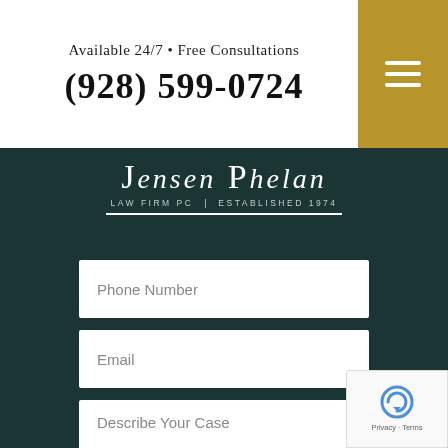Available 24/7 • Free Consultations
(928) 599-0724
[Figure (logo): Jensen Phelan Law Firm PC Established 1974 logo]
Phone Number
Email
Describe Your Case